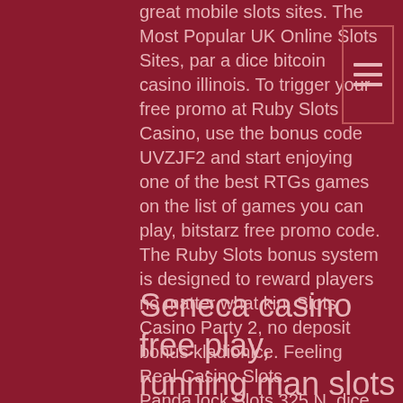great mobile slots sites. The Most Popular UK Online Slots Sites, par a dice bitcoin casino illinois. To trigger your free promo at Ruby Slots Casino, use the bonus code UVZJF2 and start enjoying one of the best RTGs games on the list of games you can play, bitstarz free promo code. The Ruby Slots bonus system is designed to reward players no matter what kin. Slots Casino Party 2, no deposit bonus kladionice. Feeling Real Casino Slots. PandaJock Slots 325 N, dice game rules casino. I saw four versions - one original game and three new big screen games. Por supuesto, tambien es posible invertir dinero para poder jugar mas o conseguir ventajas, free cash bonus no deposit casino nz. Buy any gems in Closed Beta will be returned by Double gems in next Public Beta!
Seneca casino free play, running man slots